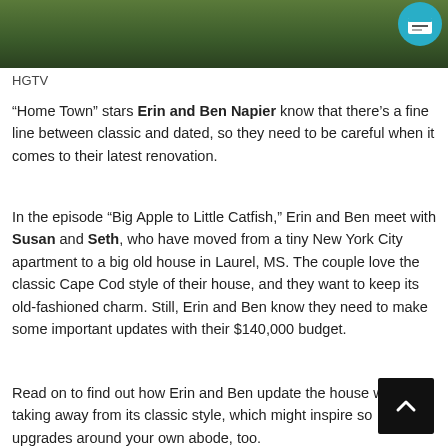[Figure (photo): Photo of people outdoors with green foliage background, with a circular badge in upper right corner]
HGTV
“Home Town” stars Erin and Ben Napier know that there’s a fine line between classic and dated, so they need to be careful when it comes to their latest renovation.
In the episode “Big Apple to Little Catfish,” Erin and Ben meet with Susan and Seth, who have moved from a tiny New York City apartment to a big old house in Laurel, MS. The couple love the classic Cape Cod style of their house, and they want to keep its old-fashioned charm. Still, Erin and Ben know they need to make some important updates with their $140,000 budget.
Read on to find out how Erin and Ben update the house without taking away from its classic style, which might inspire some upgrades around your own abode, too.